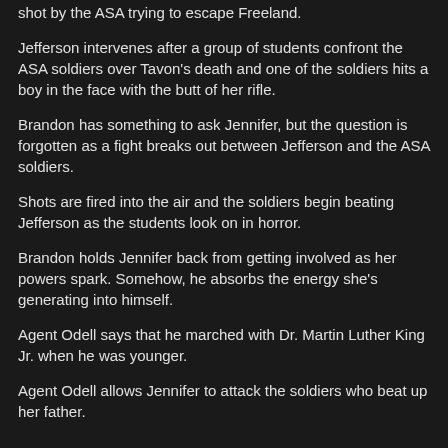shot by the ASA trying to escape Freeland.
Jefferson intervenes after a group of students confront the ASA soldiers over Tavon's death and one of the soldiers hits a boy in the face with the butt of her rifle.
Brandon has something to ask Jennifer, but the question is forgotten as a fight breaks out between Jefferson and the ASA soldiers.
Shots are fired into the air and the soldiers begin beating Jefferson as the students look on in horror.
Brandon holds Jennifer back from getting involved as her powers spark. Somehow, he absorbs the energy she's generating into himself.
Agent Odell says that he marched with Dr. Martin Luther King Jr. when he was younger.
Agent Odell allows Jennifer to attack the soldiers who beat up her father.